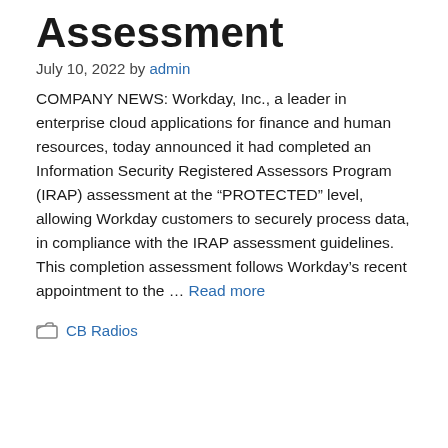Assessment
July 10, 2022 by admin
COMPANY NEWS: Workday, Inc., a leader in enterprise cloud applications for finance and human resources, today announced it had completed an Information Security Registered Assessors Program (IRAP) assessment at the “PROTECTED” level, allowing Workday customers to securely process data, in compliance with the IRAP assessment guidelines. This completion assessment follows Workday’s recent appointment to the … Read more
CB Radios